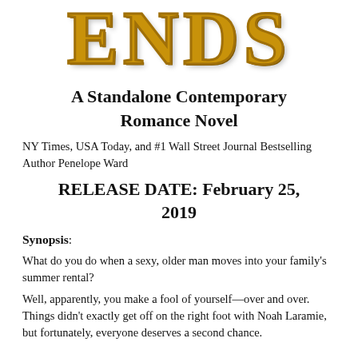ENDS
A Standalone Contemporary Romance Novel
NY Times, USA Today, and #1 Wall Street Journal Bestselling Author Penelope Ward
RELEASE DATE: February 25, 2019
Synopsis:
What do you do when a sexy, older man moves into your family's summer rental?
Well, apparently, you make a fool of yourself—over and over. Things didn't exactly get off on the right foot with Noah Laramie, but fortunately, everyone deserves a second chance.